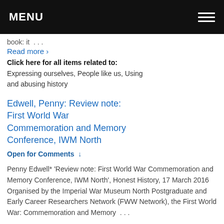MENU
book: it …
Read more ›
Click here for all items related to:
Expressing ourselves, People like us, Using and abusing history
Edwell, Penny: Review note: First World War Commemoration and Memory Conference, IWM North
Open for Comments ↓
Penny Edwell* 'Review note: First World War Commemoration and Memory Conference, IWM North', Honest History, 17 March 2016 Organised by the Imperial War Museum North Postgraduate and Early Career Researchers Network (FWW Network), the First World War: Commemoration and Memory …